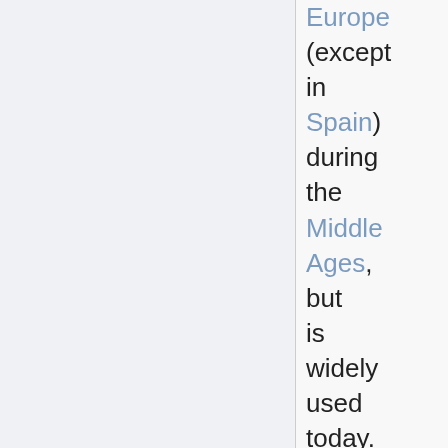Europe (except in Spain) during the Middle Ages, but is widely used today. It is now